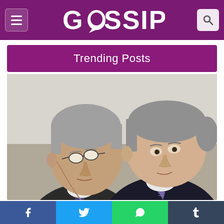GOSSIP
Trending Posts
[Figure (photo): Two elderly men in suits leaning their heads together in close conversation, both with grey/white hair; one wears glasses.]
Facebook | Twitter | WhatsApp | Tumblr